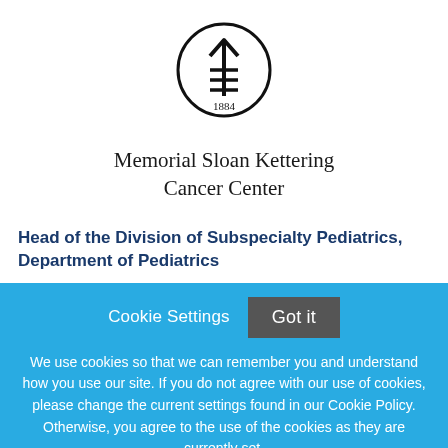[Figure (logo): Memorial Sloan Kettering Cancer Center logo: a circle containing an upward arrow with horizontal lines through the shaft, and '1884' below the arrow]
Memorial Sloan Kettering Cancer Center
Head of the Division of Subspecialty Pediatrics, Department of Pediatrics
Cookie Settings
Got it
We use cookies so that we can remember you and understand how you use our site. If you do not agree with our use of cookies, please change the current settings found in our Cookie Policy. Otherwise, you agree to the use of the cookies as they are currently set.